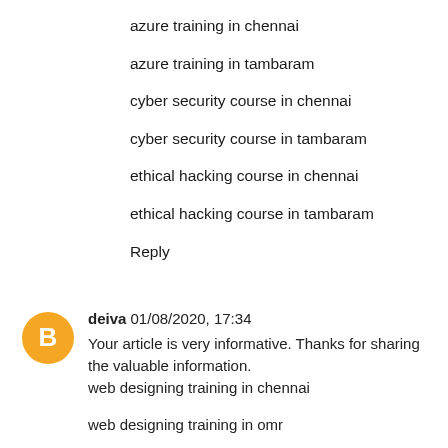azure training in chennai
azure training in tambaram
cyber security course in chennai
cyber security course in tambaram
ethical hacking course in chennai
ethical hacking course in tambaram
Reply
deiva 01/08/2020, 17:34
Your article is very informative. Thanks for sharing the valuable information.
web designing training in chennai

web designing training in omr